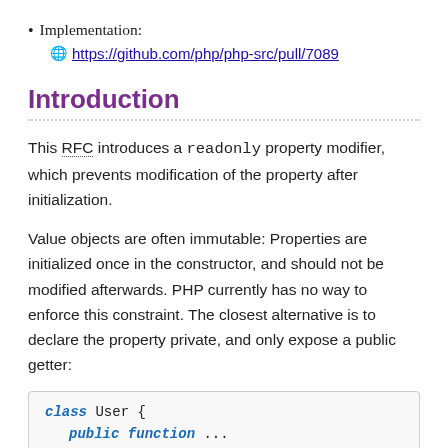Implementation: https://github.com/php/php-src/pull/7089
Introduction
This RFC introduces a readonly property modifier, which prevents modification of the property after initialization.
Value objects are often immutable: Properties are initialized once in the constructor, and should not be modified afterwards. PHP currently has no way to enforce this constraint. The closest alternative is to declare the property private, and only expose a public getter:
[Figure (screenshot): Code block showing: class User { public function ... (truncated)]